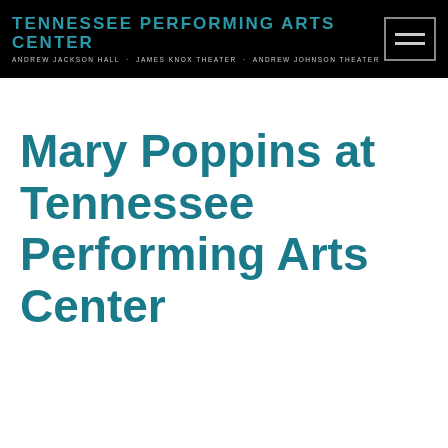TENNESSEE PERFORMING ARTS CENTER ANDREW JACKSON HALL · JAMES KNOX THEATER · ANDREW JOHNSON THEATER
Mary Poppins at Tennessee Performing Arts Center